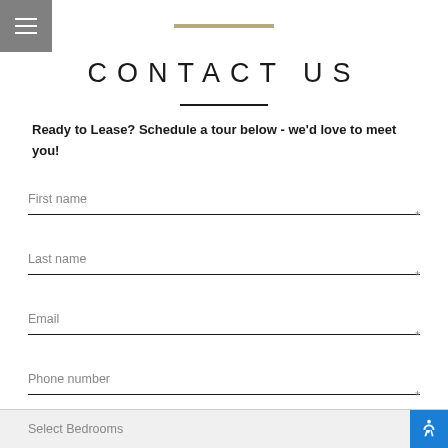[Figure (other): Hamburger menu button (three white horizontal lines on gray background)]
CONTACT US
Ready to Lease? Schedule a tour below - we'd love to meet you!
First name *
Last name *
Email *
Phone number *
Select Bedrooms